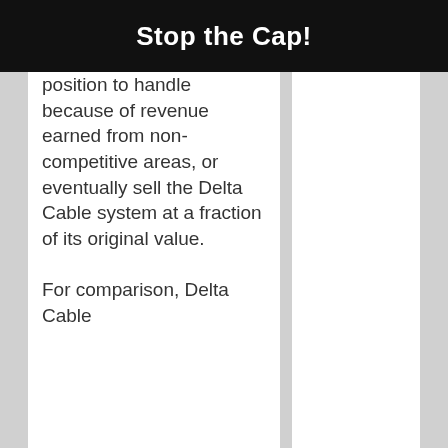Stop the Cap!
position to handle because of revenue earned from non-competitive areas, or eventually sell the Delta Cable system at a fraction of its original value.
For comparison, Delta Cable